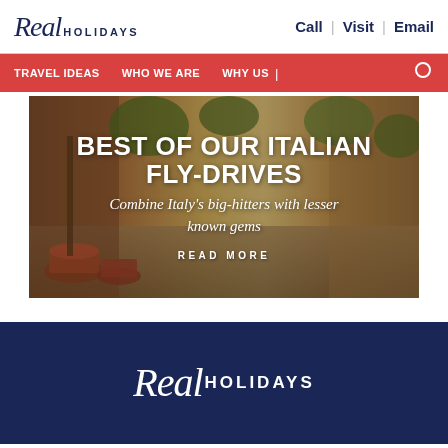Real HOLIDAYS | Call | Visit | Email
TRAVEL IDEAS  WHO WE ARE  WHY US |
[Figure (photo): Hero banner showing an Italian cobblestone street alley with terracotta pots and brick buildings, overlaid with text: BEST OF OUR ITALIAN FLY-DRIVES / Combine Italy's big-hitters with lesser known gems / READ MORE]
Real HOLIDAYS